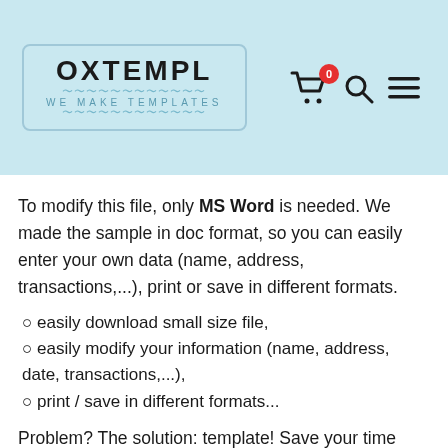OXTEMPL WE MAKE TEMPLATES
To modify this file, only MS Word is needed. We made the sample in doc format, so you can easily enter your own data (name, address, transactions,...), print or save in different formats.
○ easily download small size file,
○ easily modify your information (name, address, date, transactions,...),
○ print / save in different formats...
Problem? The solution: template! Save your time and just download our professionally made template, which may be the best for your